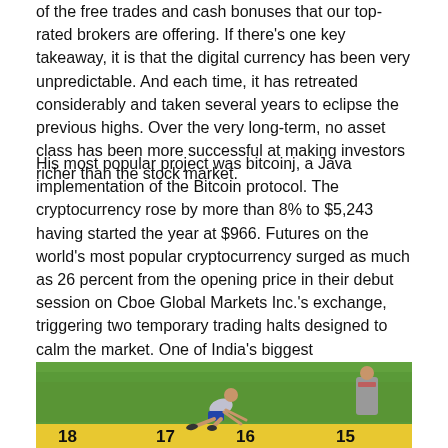of the free trades and cash bonuses that our top-rated brokers are offering. If there's one key takeaway, it is that the digital currency has been very unpredictable. And each time, it has retreated considerably and taken several years to eclipse the previous highs. Over the very long-term, no asset class has been more successful at making investors richer than the stock market.
His most popular project was bitcoinj, a Java implementation of the Bitcoin protocol. The cryptocurrency rose by more than 8% to $5,243 having started the year at $966. Futures on the world's most popular cryptocurrency surged as much as 26 percent from the opening price in their debut session on Cboe Global Markets Inc.'s exchange, triggering two temporary trading halts designed to calm the market. One of India's biggest cryptocurrency trading platforms has lost about 438 Bitcoins worth some 190 million rupees ($3 million), allegedly due to a rogue employee.
[Figure (photo): An athlete competing in a long jump or similar track and field event, crouching near a yellow measurement board on a grass field. Numbers 17, 16, 15 (and partially 18) visible on the yellow board. A person in a grey jacket stands in the background to the right.]